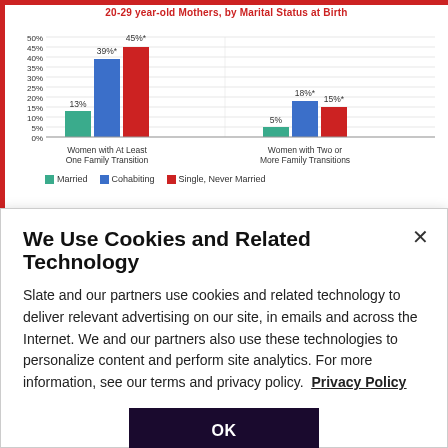[Figure (grouped-bar-chart): 20-29 year-old Mothers, by Marital Status at Birth]
NOTE: Figure depicts the percent of women who experienced at least one or two or more family transitions
We Use Cookies and Related Technology
Slate and our partners use cookies and related technology to deliver relevant advertising on our site, in emails and across the Internet. We and our partners also use these technologies to personalize content and perform site analytics. For more information, see our terms and privacy policy. Privacy Policy
OK